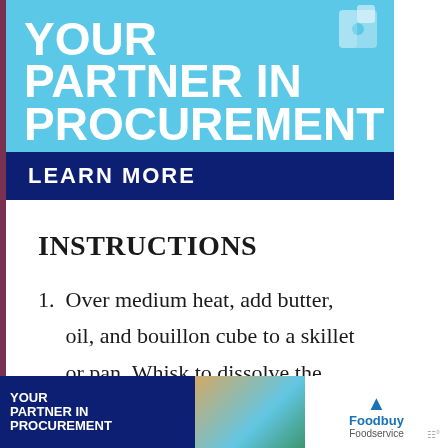[Figure (illustration): Top advertisement banner with light blue background showing 'YOUR PARTNER IN PROCUREMENT' in large white bold text with puzzle piece graphic. Dark navy blue bar at bottom reads 'LEARN MORE'.]
INSTRUCTIONS
Over medium heat, add butter, oil, and bouillon cube to a skillet or pan. Whisk to dissolve the cube then add the rice. Coat the rice with the oil mixture and
[Figure (illustration): Bottom advertisement banner showing 'YOUR PARTNER IN PROCUREMENT' on dark navy background with food imagery and Foodbuy Foodservice logo.]